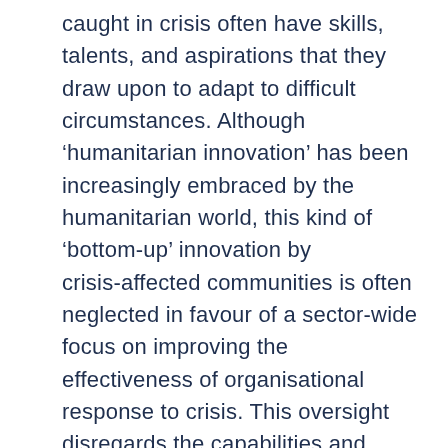caught in crisis often have skills, talents, and aspirations that they draw upon to adapt to difficult circumstances. Although 'humanitarian innovation' has been increasingly embraced by the humanitarian world, this kind of 'bottom-up' innovation by crisis-affected communities is often neglected in favour of a sector-wide focus on improving the effectiveness of organisational response to crisis. This oversight disregards the capabilities and adaptive resourcefulness that people and communities affected by conflict and disaster often demonstrate. This report focuses on examples and case studies of 'bottom-up innovation' among different refugee populations. Whether in the immediate aftermath of displacement or in long-term protracted